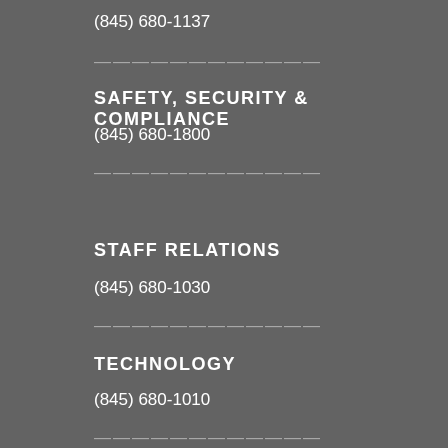(845) 680-1137
————————————
SAFETY, SECURITY & COMPLIANCE
(845) 680-1800
————————————
STAFF RELATIONS
(845) 680-1030
————————————
TECHNOLOGY
(845) 680-1010
————————————
TRANSPORTATION
(845) 680-1662
————————————